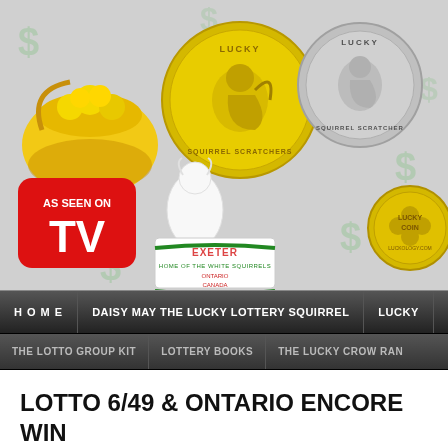[Figure (illustration): Website header banner with Lucky Squirrel Scratchers coin images (gold and silver), a pot of gold, white squirrel figurine, Exeter Ontario Canada Home of the White Squirrels sign, Lucky Coin from Luckology.com, and AS SEEN ON TV logo, with green dollar signs in the background.]
H O M E  |  DAISY MAY THE LUCKY LOTTERY SQUIRREL  |  LUCKY
THE LOTTO GROUP KIT  |  LOTTERY BOOKS  |  THE LUCKY CROW RAN
LOTTO 6/49 & ONTARIO ENCORE WIN SATURDAY 08/05/2021
MAY 8, 2021 BY BELIEVER IN KARMA
Lotto 6/49 & Ontario Encore Winning Numb